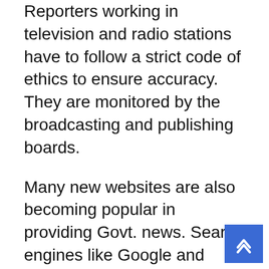Reporters working in television and radio stations have to follow a strict code of ethics to ensure accuracy. They are monitored by the broadcasting and publishing boards.
Many new websites are also becoming popular in providing Govt. news. Search engines like Google and Yahoo provide several news portals. A good news portal will give you a fair idea of the latest happenings in the country. You can easily access the information at any time of the day from the comfort of your home.
All types of media are now available on the Internet to provide Govt. news. Internet has become a comprehensive source of information which provides the latest information on government issues. Social